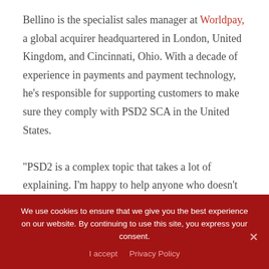Bellino is the specialist sales manager at Worldpay, a global acquirer headquartered in London, United Kingdom, and Cincinnati, Ohio. With a decade of experience in payments and payment technology, he's responsible for supporting customers to make sure they comply with PSD2 SCA in the United States.
“PSD2 is a complex topic that takes a lot of explaining. I’m happy to help anyone who doesn’t quite grasp the topic,” he says.
We use cookies to ensure that we give you the best experience on our website. By continuing to use this site, you express your consent.
I accept   Privacy Policy